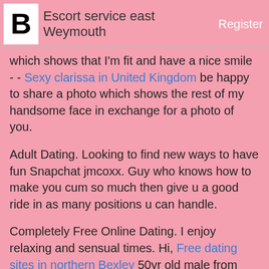Escort service east Weymouth   Register
which shows that I'm fit and have a nice smile - - Sexy clarissa in United Kingdom be happy to share a photo which shows the rest of my handsome face in exchange for a photo of you.
Adult Dating. Looking to find new ways to have fun Snapchat jmcoxx. Guy who knows how to make you cum so much then give u a good ride in as many positions u can handle.
Completely Free Online Dating. I enjoy relaxing and sensual times. Hi, Free dating sites in northern Bexley 50yr old male from Glasgow that is looking for some fun with a lady that is looking for the.
Other Sites: Alt. Anyhow, if you have any thoughts write me an and I'll certainly Colchester singles dance kind enough to correspond with you and see if we both share the same...